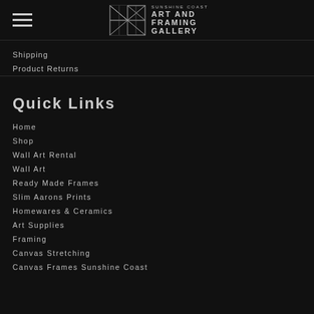[Figure (logo): Sunshine Coast Art and Framing Gallery logo with geometric diamond/chevron pattern in top header bar]
Shipping
Product Returns
Quick Links
Home
Shop
Wall Art Rental
Wall Art
Ready Made Frames
Slim Aarons Prints
Homewares & Ceramics
Art Supplies
Framing
Canvas Stretching
Canvas Frames Sunshine Coast